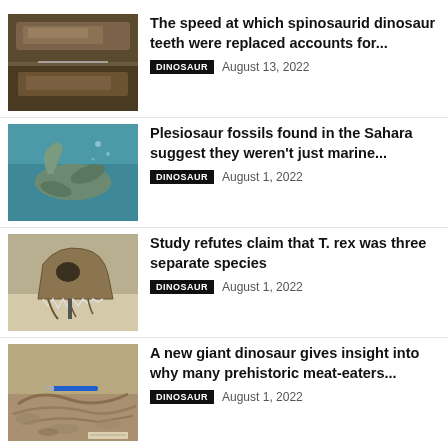[Figure (photo): Close-up photo of spinosaurid dinosaur teeth fossils]
The speed at which spinosaurid dinosaur teeth were replaced accounts for...
DINOSAUR  August 13, 2022
[Figure (photo): Underwater illustration of a plesiosaur swimming]
Plesiosaur fossils found in the Sahara suggest they weren't just marine...
DINOSAUR  August 1, 2022
[Figure (photo): Photo of a T. rex skull fossil on display]
Study refutes claim that T. rex was three separate species
DINOSAUR  August 1, 2022
[Figure (photo): Photo of a large dinosaur fossil excavation with a pen for scale]
A new giant dinosaur gives insight into why many prehistoric meat-eaters...
DINOSAUR  August 1, 2022